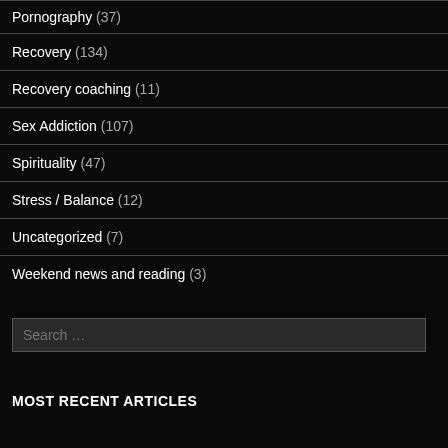Pornography (37)
Recovery (134)
Recovery coaching (11)
Sex Addiction (107)
Spirituality (47)
Stress / Balance (12)
Uncategorized (7)
Weekend news and reading (3)
Search …
MOST RECENT ARTICLES